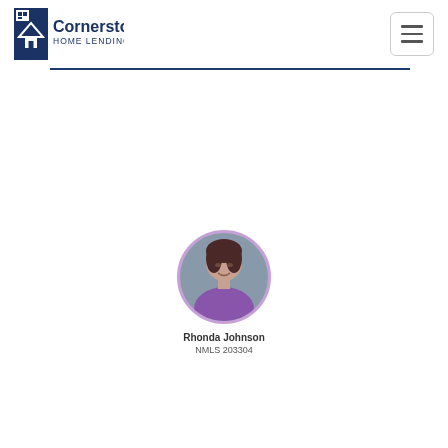[Figure (logo): Cornerstone Home Lending, Inc. logo with blue house icon and text]
[Figure (other): Hamburger menu button (three horizontal lines) in a rounded rectangle border]
[Figure (photo): Circular profile photo of Rhonda Johnson, a woman with dark hair wearing a purple top]
Rhonda Johnson
NMLS 203304